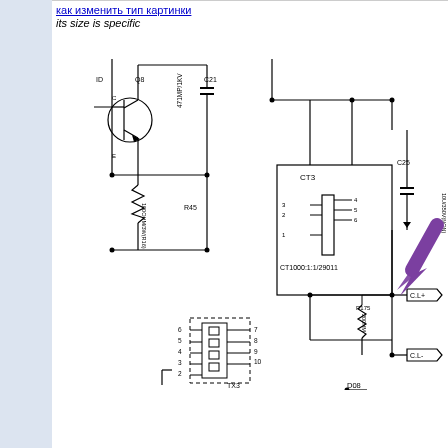[Figure (circuit-diagram): Electronic circuit schematic showing components including transistor Q8, resistors R45 (100OHM/3W/R16) and R175 (200HM), capacitors C21 (471MP/1KV) and C25 (10U/350V/NON), current transformer CT3 (CT1000:1:1/29011), inductors L2, L3 (515OH/15A/1089), L4 (515UH/15A/1089), connector TX3 with pins 2-10, diode D08, and output terminals CL+ and CL-. A purple arrow annotation points to the C25 capacitor area.]
как изменить тип картинки
its size is specific